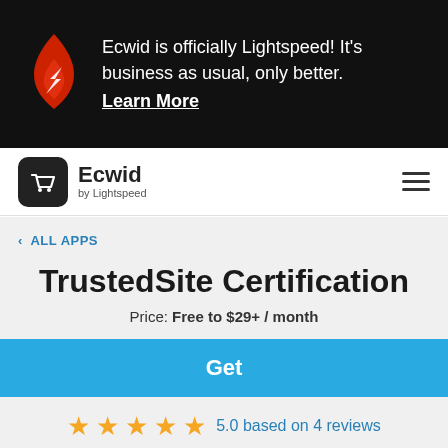[Figure (infographic): Dark banner with red flame/Lightspeed logo and text: Ecwid is officially Lightspeed! It's business as usual, only better. Learn More (underlined bold link)]
[Figure (logo): Ecwid by Lightspeed logo with shopping cart icon and wordmark, plus hamburger menu icon on the right]
< ALL APPS
TrustedSite Certification
Price: Free to $29+ / month
Get
5.0 based on 4 reviews